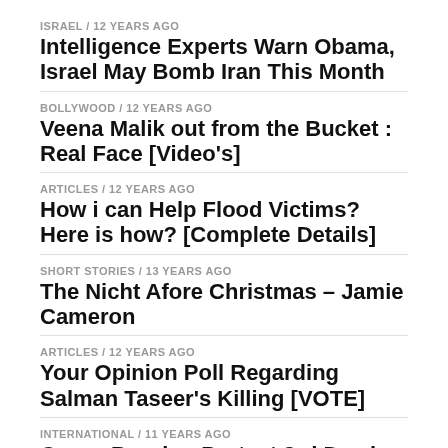ISRAEL / 12 years ago
Intelligence Experts Warn Obama, Israel May Bomb Iran This Month
BOLLYWOOD / 12 years ago
Veena Malik out from the Bucket : Real Face [Video's]
ARTICLES / 12 years ago
How i can Help Flood Victims? Here is how? [Complete Details]
SHORT STORIES / 13 years ago
The Nicht Afore Christmas – Jamie Cameron
ARTICLES / 12 years ago
Your Opinion Poll Regarding Salman Taseer's Killing [VOTE]
INTERNATIONAL / 11 years ago
Quran Burning Protest 3rd Day in Afghanistan